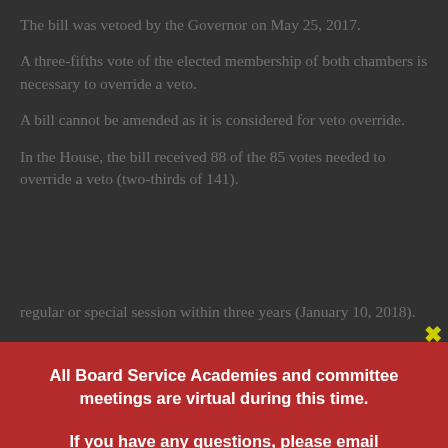The bill was vetoed by the Governor on May 25, 2017.
A three-fifths vote of the elected membership of both chambers is necessary to override a veto.
A bill cannot be amended as it is considered for veto override.
In the House, the bill received 88 of the 85 votes needed to override a veto (two-thirds of 141).
regular or special session within three years (January 10, 2018).
The first day of the 2018 session is January 10, 2018.
In recent sessions, vetoes presented on the opening day of session have been “special ordered” for a week or more.
Any bill enacted over the veto of the Governor…shall take
[Figure (other): Modal popup dialog with red background. Contains bold white text: 'All Board Service Academies and committee meetings are virtual during this time.' and 'If you have any questions, please email jbeltz@mabe.org.' A yellow X close button appears in the top right. A yellow 'Never see this message again.' dismiss link appears at the bottom.]